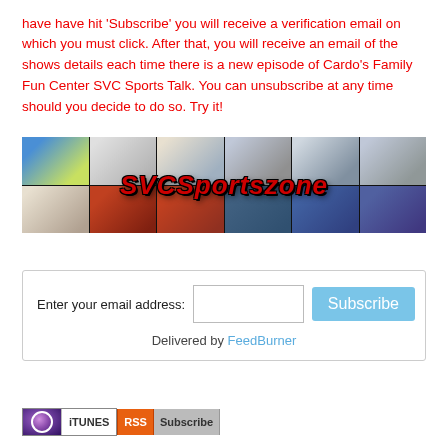have have hit 'Subscribe' you will receive a verification email on which you must click. After that, you will receive an email of the shows details each time there is a new episode of Cardo's Family Fun Center SVC Sports Talk. You can unsubscribe at any time should you decide to do so. Try it!
[Figure (photo): SVCSportsZone banner image: collage of sports photos (basketball, football, etc.) with the text 'SVCSportszone' in red italic letters overlaid in the center.]
Enter your email address:  [text input]  [Subscribe button]  Delivered by FeedBurner
[Figure (logo): iTunes subscribe button and RSS Subscribe button side by side.]